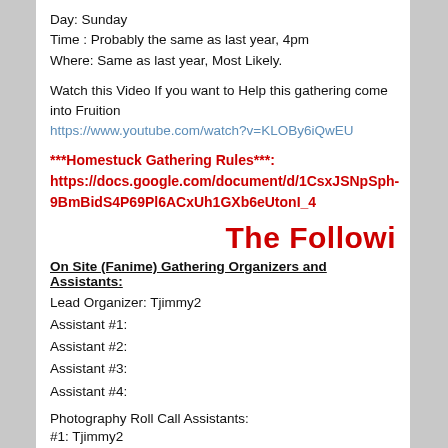Day: Sunday
Time : Probably the same as last year, 4pm
Where: Same as last year, Most Likely.
Watch this Video If you want to Help this gathering come into Fruition
https://www.youtube.com/watch?v=KLOBy6iQwEU
***Homestuck Gathering Rules***:
https://docs.google.com/document/d/1CsxJSNpSph-9BmBidS4P69Pl6ACxUh1GXb6eUtonI_4
The Followi
On Site (Fanime) Gathering Organizers and Assistants:
Lead Organizer: Tjimmy2
Assistant #1:
Assistant #2:
Assistant #3:
Assistant #4:
Photography Roll Call Assistants:
#1: Tjimmy2
#2: "John"
#3: "Tony"
#4:
Want to help? Message here or PM me or Email, or phone if you prefer, and I can let you know what you can do to help!